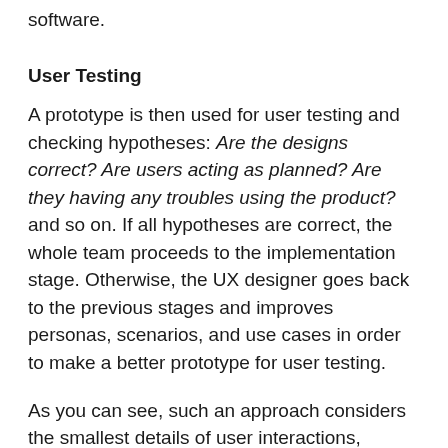software.
User Testing
A prototype is then used for user testing and checking hypotheses: Are the designs correct? Are users acting as planned? Are they having any troubles using the product? and so on. If all hypotheses are correct, the whole team proceeds to the implementation stage. Otherwise, the UX designer goes back to the previous stages and improves personas, scenarios, and use cases in order to make a better prototype for user testing.
As you can see, such an approach considers the smallest details of user interactions, checks all hypotheses, and guarantees that the final product will